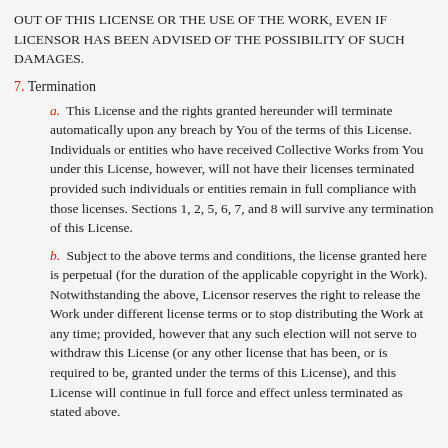OUT OF THIS LICENSE OR THE USE OF THE WORK, EVEN IF LICENSOR HAS BEEN ADVISED OF THE POSSIBILITY OF SUCH DAMAGES.
7. Termination
a. This License and the rights granted hereunder will terminate automatically upon any breach by You of the terms of this License. Individuals or entities who have received Collective Works from You under this License, however, will not have their licenses terminated provided such individuals or entities remain in full compliance with those licenses. Sections 1, 2, 5, 6, 7, and 8 will survive any termination of this License.
b. Subject to the above terms and conditions, the license granted here is perpetual (for the duration of the applicable copyright in the Work). Notwithstanding the above, Licensor reserves the right to release the Work under different license terms or to stop distributing the Work at any time; provided, however that any such election will not serve to withdraw this License (or any other license that has been, or is required to be, granted under the terms of this License), and this License will continue in full force and effect unless terminated as stated above.